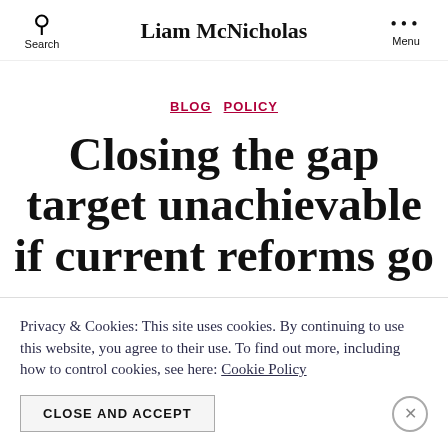Search  Liam McNicholas  Menu
BLOG  POLICY
Closing the gap target unachievable if current reforms go
Privacy & Cookies: This site uses cookies. By continuing to use this website, you agree to their use. To find out more, including how to control cookies, see here: Cookie Policy
CLOSE AND ACCEPT